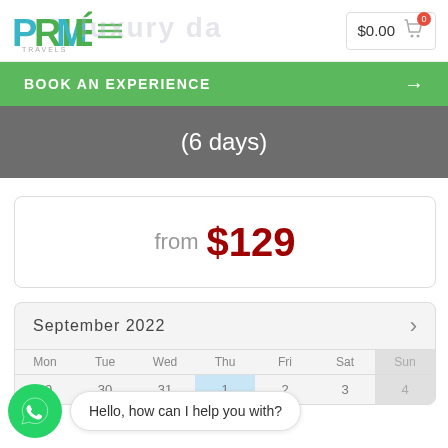[Figure (logo): PRIMÉ Travels logo — teal/green stylized letters with accent mark]
$0.00
BOOK AN EXPERIENCE
(6 days)
from $129
September 2022
Hello, how can I help you with?
29  30  31  1  2  3  4